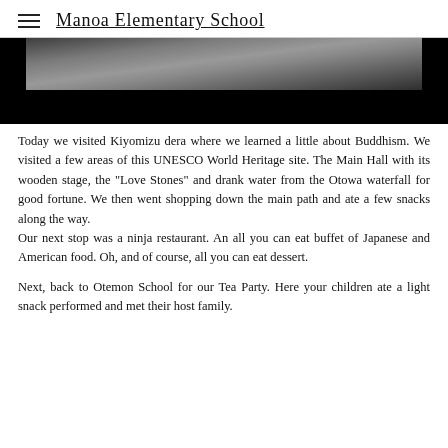Manoa Elementary School
[Figure (photo): Partially visible photo, mostly black with a light grey stone or concrete surface visible in the upper portion.]
Today we visited Kiyomizu dera where we learned a little about Buddhism. We visited a few areas of this UNESCO World Heritage site. The Main Hall with its wooden stage, the "Love Stones" and drank water from the Otowa waterfall for good fortune. We then went shopping down the main path and ate a few snacks along the way.
Our next stop was a ninja restaurant. An all you can eat buffet of Japanese and American food. Oh, and of course, all you can eat dessert.
Next, back to Otemon School for our Tea Party. Here your children ate a light snack performed and met their host family.